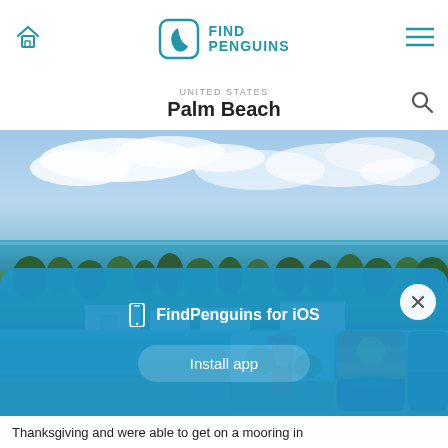FindPenguins
UNITED STATES
Palm Beach
[Figure (photo): Aerial photo of Palm Beach, Florida showing coastal neighborhood with palm trees, houses, waterway, and ocean in the background under partly cloudy sky. Smaller thumbnail images in bottom right show a lighthouse and sunset scene.]
📱  FindPenguins for iOS
Install app
Thanksgiving and were able to get on a mooring in